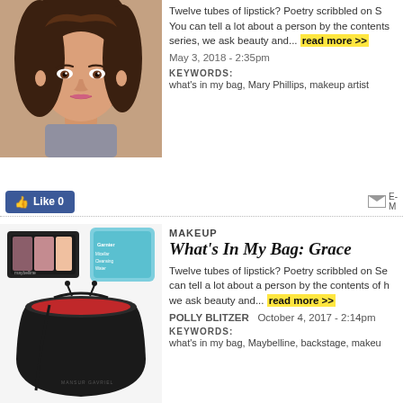[Figure (photo): Portrait photo of a brunette woman with wavy hair, looking at the camera with a slight smile]
Twelve tubes of lipstick? Poetry scribbled on S... You can tell a lot about a person by the contents of... series, we ask beauty and... read more >>
May 3, 2018 - 2:35pm
KEYWORDS: what's in my bag, Mary Phillips, makeup artist
[Figure (photo): Flat lay product photo showing a makeup palette (eyeshadow/blush), a pack of Garnier micellar cleansing wipes, and a black Mansur Gavriel bucket bag with red interior]
MAKEUP
What's In My Bag: Grace
Twelve tubes of lipstick? Poetry scribbled on Se... can tell a lot about a person by the contents of h... we ask beauty and... read more >>
POLLY BLITZER   October 4, 2017 - 2:14pm
KEYWORDS: what's in my bag, Maybelline, backstage, makeu...